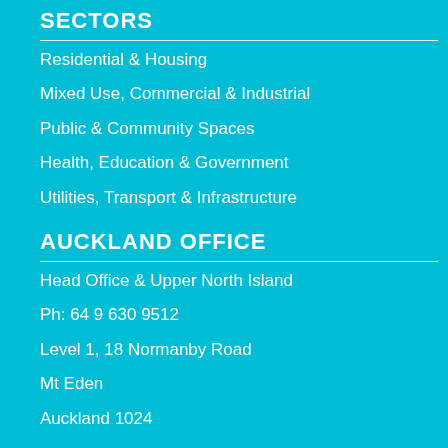SECTORS
Residential & Housing
Mixed Use, Commercial & Industrial
Public & Community Spaces
Health, Education & Government
Utilities, Transport & Infrastructure
AUCKLAND OFFICE
Head Office & Upper North Island
Ph: 64 9 630 9512
Level 1, 18 Normanby Road
Mt Eden
Auckland 1024
CHRISTCHURCH OFFICE